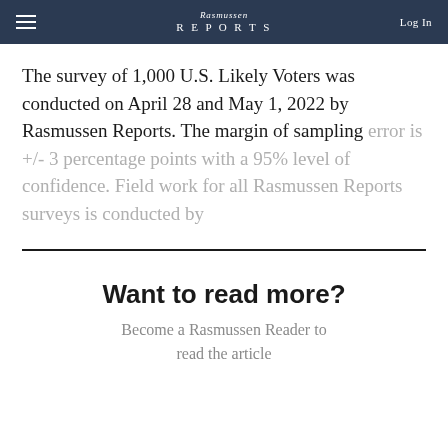Rasmussen Reports | Log In
The survey of 1,000 U.S. Likely Voters was conducted on April 28 and May 1, 2022 by Rasmussen Reports. The margin of sampling error is +/- 3 percentage points with a 95% level of confidence. Field work for all Rasmussen Reports surveys is conducted by
Want to read more?
Become a Rasmussen Reader to read the article